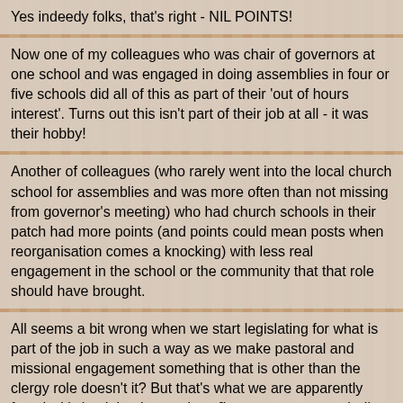Yes indeedy folks, that's right - NIL POINTS!
Now one of my colleagues who was chair of governors at one school and was engaged in doing assemblies in four or five schools did all of this as part of their 'out of hours interest'. Turns out this isn't part of their job at all - it was their hobby!
Another of colleagues (who rarely went into the local church school for assemblies and was more often than not missing from governor's meeting) who had church schools in their patch had more points (and points could mean posts when reorganisation comes a knocking) with less real engagement in the school or the community that that role should have brought.
All seems a bit wrong when we start legislating for what is part of the job in such a way as we make pastoral and missional engagement something that is other than the clergy role doesn't it? But that's what we are apparently faced with (and that is a real ..... [insert you own word - I'm lost for one]!).